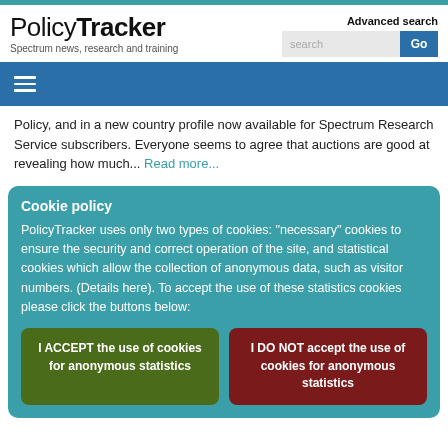PolicyTracker — Spectrum news, research and training | Advanced search
Policy, and in a new country profile now available for Spectrum Research Service subscribers. Everyone seems to agree that auctions are good at revealing how much... Read more...
Cookie policy
PolicyTracker uses only two types of cookies: "necessary" cookies to ensure the security and correct operation of the site, and statistical cookies which allow the collection of anonymous data, such as visitor numbers. (Details here). To accept the use of these statistics cookies please click the buttons below:
I ACCEPT the use of cookies for anonymous statistics
I DO NOT accept the use of cookies for anonymous statistics